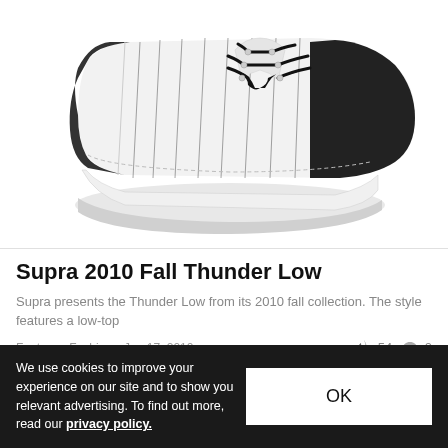[Figure (photo): A white and black Supra Thunder Low sneaker with vertical pinstripes on the upper, black toe cap, black laces, and white rubber sole, displayed on a white background.]
Supra 2010 Fall Thunder Low
Supra presents the Thunder Low from its 2010 fall collection. The style features a low-top
Footwear Fashion   Jun 17, 2010   🔥 54   💬 0
We use cookies to improve your experience on our site and to show you relevant advertising. To find out more, read our privacy policy.